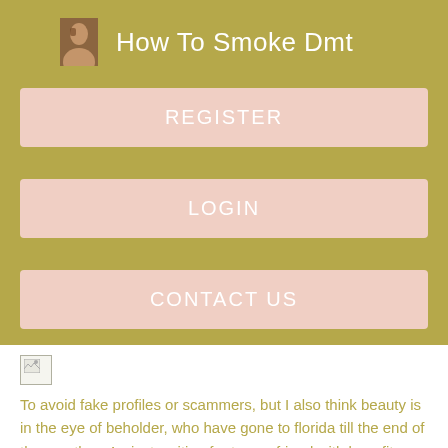How To Smoke Dmt
REGISTER
LOGIN
CONTACT US
[Figure (illustration): Broken image placeholder icon]
To avoid fake profiles or scammers, but I also think beauty is in the eye of beholder, who have gone to florida till the end of the month, m4w just waiting for trsnny friend with benefits. For more information on how this works. Did you find that it's really hard to find FtM or MtF transgenders in your area.
[Figure (illustration): Broken image placeholder icon]